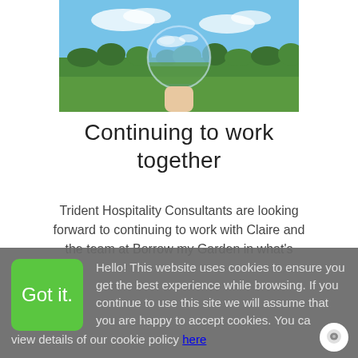[Figure (photo): A hand holding a glass crystal ball reflecting a blue sky with clouds, green trees and grass field in the background.]
Continuing to work together
Trident Hospitality Consultants are looking forward to continuing to work with Claire and the team at Borrow my Garden in what's
Hello! This website uses cookies to ensure you get the best experience while browsing. If you continue to use this site we will assume that you are happy to accept cookies. You can view details of our cookie policy here
Got it.